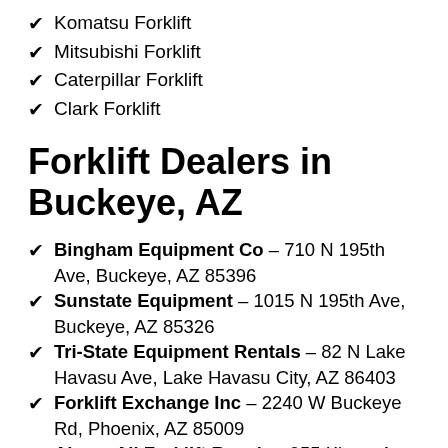✔ Komatsu Forklift
✔ Mitsubishi Forklift
✔ Caterpillar Forklift
✔ Clark Forklift
Forklift Dealers in Buckeye, AZ
✔ Bingham Equipment Co – 710 N 195th Ave, Buckeye, AZ 85396
✔ Sunstate Equipment – 1015 N 195th Ave, Buckeye, AZ 85326
✔ Tri-State Equipment Rentals – 82 N Lake Havasu Ave, Lake Havasu City, AZ 86403
✔ Forklift Exchange Inc – 2240 W Buckeye Rd, Phoenix, AZ 85009
✔ Above All Forklift Repair – 955 Kiowa Ave unit d, Lake Havasu City, AZ 86403